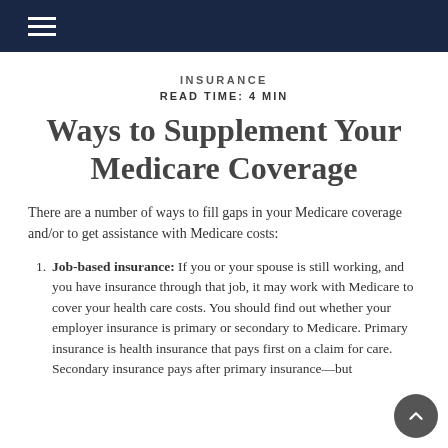INSURANCE
READ TIME: 4 MIN
Ways to Supplement Your Medicare Coverage
There are a number of ways to fill gaps in your Medicare coverage and/or to get assistance with Medicare costs:
Job-based insurance: If you or your spouse is still working, and you have insurance through that job, it may work with Medicare to cover your health care costs. You should find out whether your employer insurance is primary or secondary to Medicare. Primary insurance is health insurance that pays first on a claim for care. Secondary insurance pays after primary insurance—but